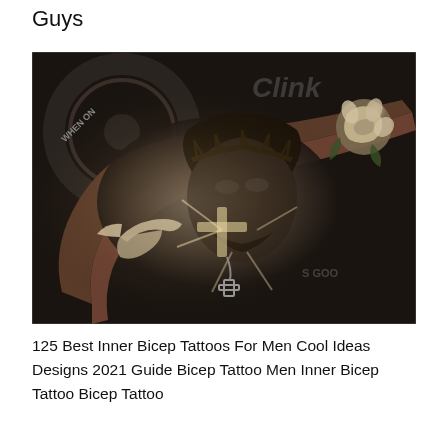Guys
[Figure (photo): A person's forearm and inner bicep heavily tattooed with a detailed black-and-grey sleeve featuring a portrait of Jesus with a crown of thorns, radiating light/cross, a dove bird, and a rose, photographed in a gym setting with weight plates visible in the background.]
125 Best Inner Bicep Tattoos For Men Cool Ideas Designs 2021 Guide Bicep Tattoo Men Inner Bicep Tattoo Bicep Tattoo